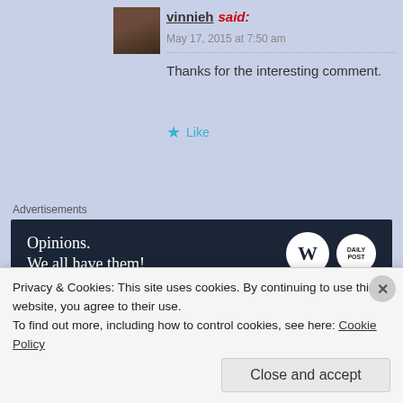vinnieh said:
May 17, 2015 at 7:50 am
Thanks for the interesting comment.
Like
Advertisements
[Figure (screenshot): Advertisement banner: 'Opinions. We all have them!' with WordPress and Daily Post logos on dark background]
[Figure (photo): Blog avatar thumbnail with illustration of a woman reading]
By Hook Or By Book ~ Book Reviews, News, & Other Stuff
Privacy & Cookies: This site uses cookies. By continuing to use this website, you agree to their use.
To find out more, including how to control cookies, see here: Cookie Policy
Close and accept